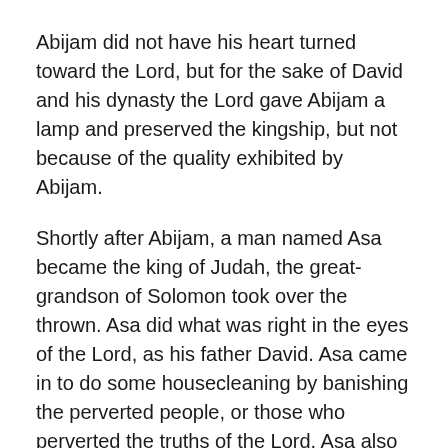Abijam did not have his heart turned toward the Lord, but for the sake of David and his dynasty the Lord gave Abijam a lamp and preserved the kingship, but not because of the quality exhibited by Abijam.
Shortly after Abijam, a man named Asa became the king of Judah, the great-grandson of Solomon took over the thrown. Asa did what was right in the eyes of the Lord, as his father David. Asa came in to do some housecleaning by banishing the perverted people, or those who perverted the truths of the Lord. Asa also moved his grandmother from the role of being queen, because she had made an idol to worship. Asa removed all places of worship that did not worship the Lord, but instead worshipped idols.
Baasha, the king of Israel came up against Judah and built Ramah, that he might let none go out or come in to Judah